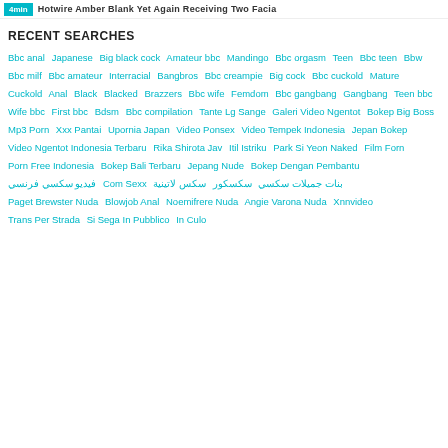4min  Hotwire Amber Blank Yet Again Receiving Two Facia
RECENT SEARCHES
Bbc anal  Japanese  Big black cock  Amateur bbc  Mandingo  Bbc orgasm  Teen  Bbc teen  Bbw  Bbc milf  Bbc amateur  Interracial  Bangbros  Bbc creampie  Big cock  Bbc cuckold  Mature  Cuckold  Anal  Black  Blacked  Brazzers  Bbc wife  Femdom  Bbc gangbang  Gangbang  Teen bbc  Wife bbc  First bbc  Bdsm  Bbc compilation  Tante Lg Sange  Galeri Video Ngentot  Bokep Big Boss  Mp3 Porn  Xxx Pantai  Upornia Japan  Video Ponsex  Video Tempek Indonesia  Jepan Bokep  Video Ngentot Indonesia Terbaru  Rika Shirota Jav  Itil Istriku  Park Si Yeon Naked  Film Forn  Porn Free Indonesia  Bokep Bali Terbaru  Jepang Nude  Bokep Dengan Pembantu  فيديو سكسي فرنسي  Com Sexx  بنات جميلات سكسي  سكسكور  سكس لاتينية  Paget Brewster Nuda  Blowjob Anal  Noemifrere Nuda  Angie Varona Nuda  Xnnvideo  Trans Per Strada  Si Sega In Pubblico  In Culo